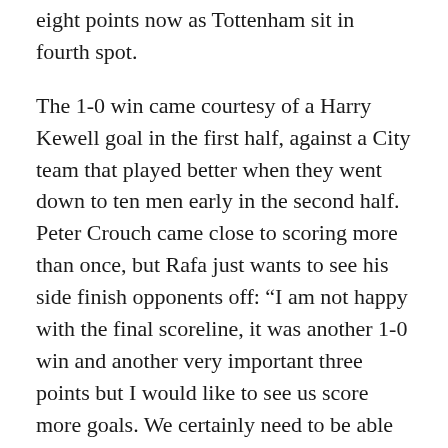eight points now as Tottenham sit in fourth spot.
The 1-0 win came courtesy of a Harry Kewell goal in the first half, against a City team that played better when they went down to ten men early in the second half. Peter Crouch came close to scoring more than once, but Rafa just wants to see his side finish opponents off: “I am not happy with the final scoreline, it was another 1-0 win and another very important three points but I would like to see us score more goals. We certainly need to be able to finish games off when we do go ahead. At the moment when it is only one goal you put yourselves under too much pressure.”
Barton was sent off for two yellow cards and that seemed to spur City on, as Rafa acknowledged: “When teams go down to 10 men against us it is always difficult, because they defend in a different